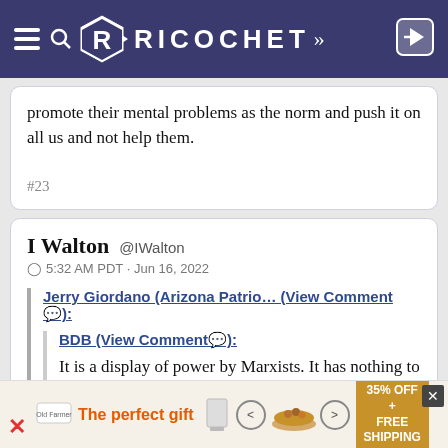RICOCHET
promote their mental problems as the norm and push it on all us and not help them.
#23
I Walton @IWalton
5:32 AM PDT · Jun 16, 2022
Jerry Giordano (Arizona Patrio&hellip; (View Comment): BDB (View Comment): It is a display of power by Marxists. It has nothing to do with the purple people.
[Figure (infographic): Advertisement banner: The perfect gift, 35% OFF + FREE SHIPPING]